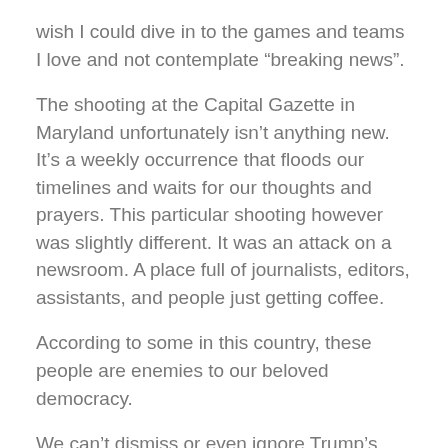wish I could dive in to the games and teams I love and not contemplate “breaking news”.
The shooting at the Capital Gazette in Maryland unfortunately isn’t anything new. It’s a weekly occurrence that floods our timelines and waits for our thoughts and prayers. This particular shooting however was slightly different. It was an attack on a newsroom. A place full of journalists, editors, assistants, and people just getting coffee.
According to some in this country, these people are enemies to our beloved democracy.
We can’t dismiss or even ignore Trump’s rhetoric, tone, or literal tweets when it comes to the media and how he feels about them. How he implores his supporters to feel about them. Making it more realistic for violence, more of a